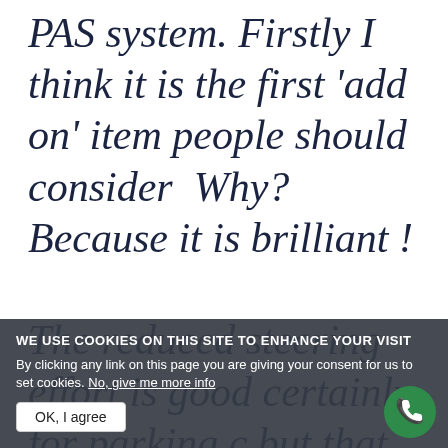PAS system. Firstly I think it is the first 'add on' item people should consider  Why? Because it is brilliant !  The reduced steering effort is good certainly for parking c but that is only a minor part of it. I to...
WE USE COOKIES ON THIS SITE TO ENHANCE YOUR VISIT
By clicking any link on this page you are giving your consent for us to set cookies. No, give me more info
OK, I agree